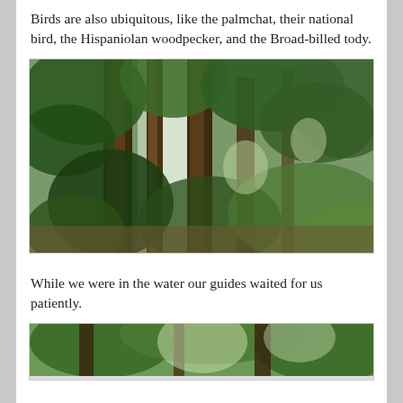Birds are also ubiquitous, like the palmchat, their national bird, the Hispaniolan woodpecker, and the Broad-billed tody.
[Figure (photo): A lush tropical forest with tall tree trunks and dense green foliage. A waterfall or white water feature is partially visible in the background through the trees.]
While we were in the water our guides waited for us patiently.
[Figure (photo): A partial view of another tropical forest scene, cropped at the bottom of the page, showing green trees and sunlight.]